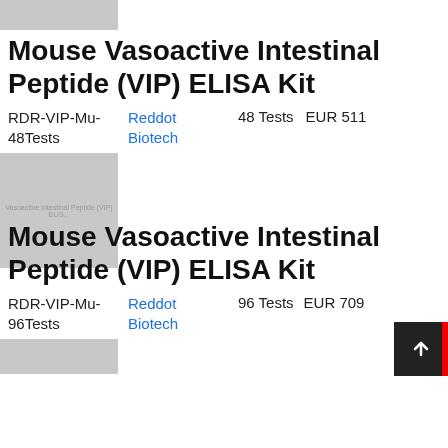[Figure (photo): Top gray placeholder image strip for first product]
Mouse Vasoactive Intestinal Peptide (VIP) ELISA Kit
RDR-VIP-Mu-48Tests    Reddot Biotech    48 Tests    EUR 511
[Figure (photo): Gray placeholder image box for first product showing faint text 'Vasoactive Intestinal Peptide (VIP) ELISA']
Mouse Vasoactive Intestinal Peptide (VIP) ELISA Kit
RDR-VIP-Mu-96Tests    Reddot Biotech    96 Tests    EUR 709
[Figure (photo): Gray placeholder image strip for second product]
[Figure (other): Scroll-to-top button, dark background with white upward arrow, red bar accent on right]